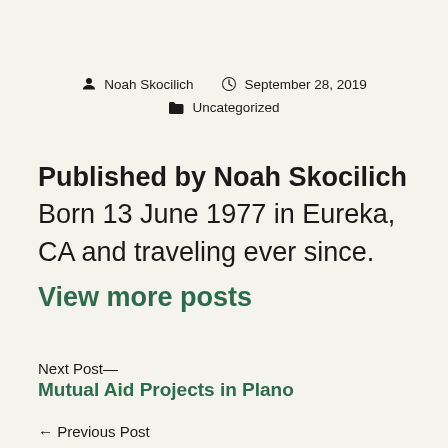Noah Skocilich   September 28, 2019   Uncategorized
Published by Noah Skocilich Born 13 June 1977 in Eureka, CA and traveling ever since.
View more posts
Next Post—
Mutual Aid Projects in Plano
← Previous Post